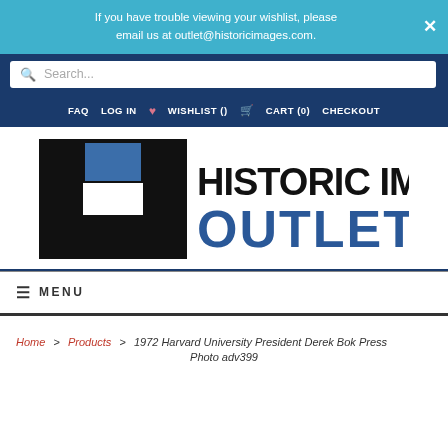If you have trouble viewing your wishlist, please email us at outlet@historicimages.com.
[Figure (screenshot): Search bar with magnifying glass icon and placeholder text 'Search...']
FAQ  LOG IN  ♥ WISHLIST ()  🛒 CART (0)  CHECKOUT
[Figure (logo): Historic Images Outlet logo — large black H with blue square inset, bold text HISTORIC IMAGES OUTLET]
≡ MENU
Home > Products > 1972 Harvard University President Derek Bok Press Photo adv399